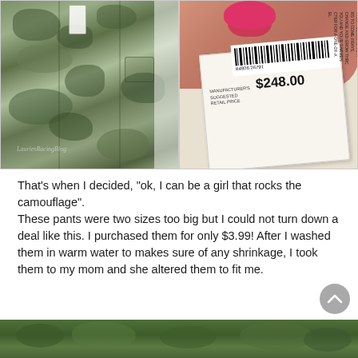[Figure (photo): Left side: camouflage cargo pants hanging on a rack. Right side: close-up of a price tag showing $248.00 MANUFACTURER'S SUGGESTED RETAIL PRICE, held by a hand with red nail polish, with barcode 84926 26791.]
That's when I decided, "ok, I can be a girl that rocks the camouflage".
These pants were two sizes too big but I could not turn down a deal like this. I purchased them for only $3.99! After I washed them in warm water to makes sure of any shrinkage, I took them to my mom and she altered them to fit me.
[Figure (photo): Bottom partial photo showing green leafy bushes/foliage.]